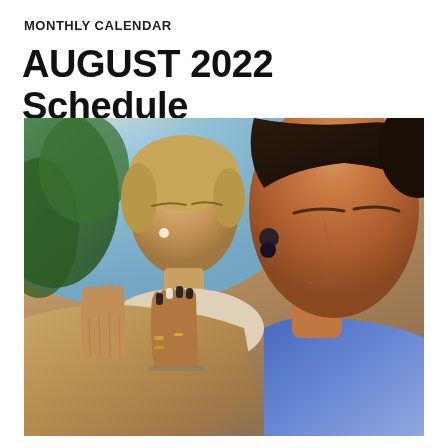MONTHLY CALENDAR
AUGUST 2022 Schedule
[Figure (photo): Two women meditating outdoors with eyes closed and hands in prayer position (namaste). The woman in the foreground wears a blue patterned top and has dark hair and earrings. The background shows sky and green foliage with warm sunlight.]